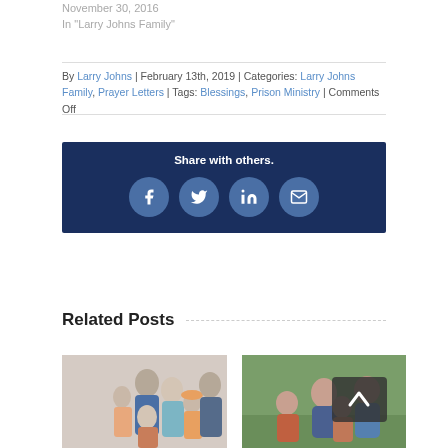November 30, 2016
In "Larry Johns Family"
By Larry Johns | February 13th, 2019 | Categories: Larry Johns Family, Prayer Letters | Tags: Blessings, Prison Ministry | Comments Off
[Figure (infographic): Share with others box with Facebook, Twitter, LinkedIn, and email icons on dark navy background]
Related Posts
[Figure (photo): Family group photo with adults and children]
[Figure (photo): Family photo outdoors on grass with dark overlay scroll button]